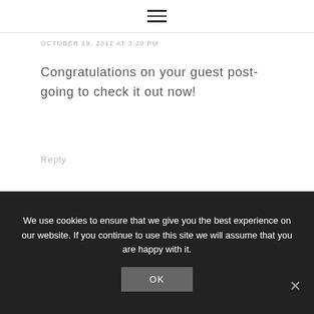≡
OCTOBER 19, 2012 AT 3:20 PM
Congratulations on your guest post- going to check it out now!
Reply
We use cookies to ensure that we give you the best experience on our website. If you continue to use this site we will assume that you are happy with it.
OK